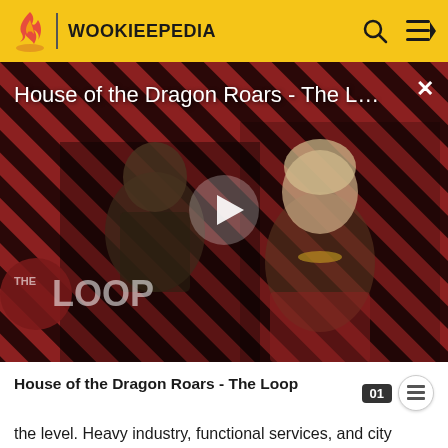WOOKIEEPEDIA
[Figure (screenshot): Video thumbnail for 'House of the Dragon Roars - The L...' with play button overlay. Shows two characters from House of the Dragon against a diagonal red/black stripe pattern with 'THE LOOP' text overlay in the lower left. A close (X) button appears in the upper right.]
House of the Dragon Roars - The Loop
the level. Heavy industry, functional services, and city services were on this level. Its primary purpose was to raise small animals and plants such as ocean-kelps and